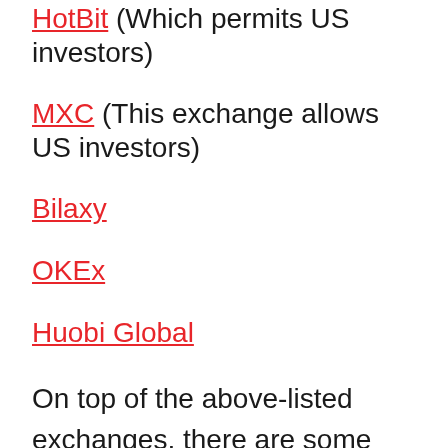HotBit (Which permits US investors)
MXC (This exchange allows US investors)
Bilaxy
OKEx
Huobi Global
On top of the above-listed exchanges, there are some more common crypto exchanges where daily trading volumes and a huge user base is available. This helps to ensure that you can sell your coins any time you want and the charges for the trading are not high. It is recommended that you should also register on these exchanges because